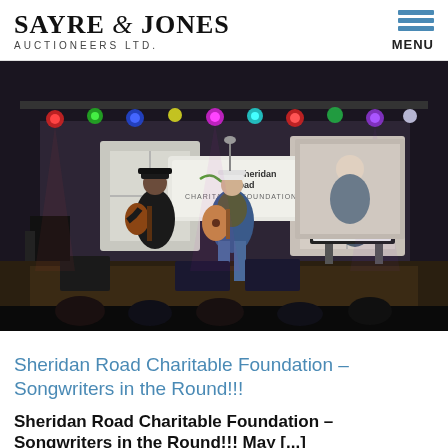SAYRE & JONES AUCTIONEERS LTD. | MENU
[Figure (photo): Concert stage photo with three musicians performing under colorful stage lights. A banner reading 'Sheridan Road Charitable Foundation' is visible in the background. One musician plays electric guitar on the left, one plays acoustic guitar in the center, and one plays keyboard on the right.]
Sheridan Road Charitable Foundation – Songwriters in the Round!!!
Sheridan Road Charitable Foundation – Songwriters in the Round!!! May [...]